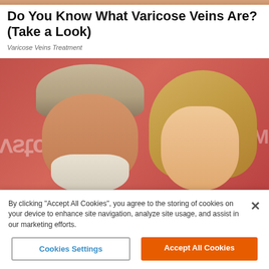Do You Know What Varicose Veins Are? (Take a Look)
Varicose Veins Treatment
[Figure (photo): Photo of an older man with white hair and beard and a blonde woman, posing in front of a red/pink background with partial text visible]
By clicking “Accept All Cookies”, you agree to the storing of cookies on your device to enhance site navigation, analyze site usage, and assist in our marketing efforts.
Cookies Settings
Accept All Cookies